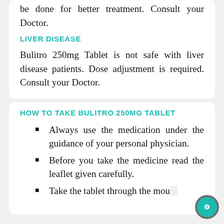be done for better treatment. Consult your Doctor.
LIVER DISEASE
Bulitro 250mg Tablet is not safe with liver disease patients. Dose adjustment is required. Consult your Doctor.
HOW TO TAKE BULITRO 250MG TABLET
Always use the medication under the guidance of your personal physician.
Before you take the medicine read the leaflet given carefully.
Take the tablet through the mouth with water.